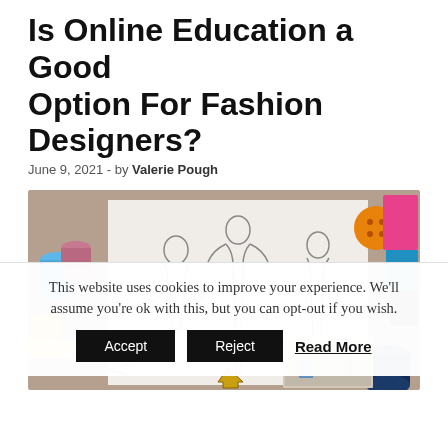Is Online Education a Good Option For Fashion Designers?
June 9, 2021  -  by Valerie Pough
[Figure (photo): Fashion design sketches of three female figures on white paper, surrounded by colorful spools of thread, fabric samples, a button, measuring tape, and sewing accessories. A small inset photo shows a woman working near a dress form mannequin.]
This website uses cookies to improve your experience. We'll assume you're ok with this, but you can opt-out if you wish.
Accept   Reject   Read More